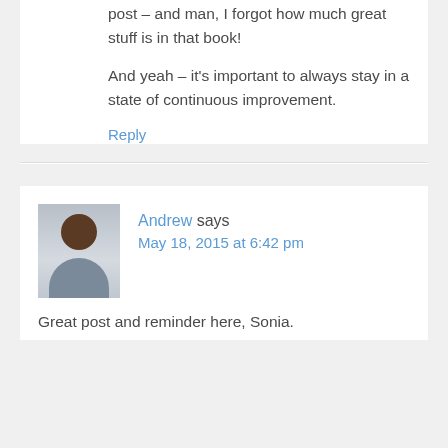post – and man, I forgot how much great stuff is in that book!
And yeah – it's important to always stay in a state of continuous improvement.
Reply
Andrew says May 18, 2015 at 6:42 pm
Great post and reminder here, Sonia.